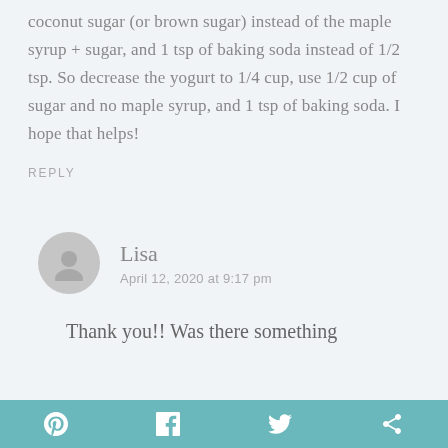coconut sugar (or brown sugar) instead of the maple syrup + sugar, and 1 tsp of baking soda instead of 1/2 tsp. So decrease the yogurt to 1/4 cup, use 1/2 cup of sugar and no maple syrup, and 1 tsp of baking soda. I hope that helps!
REPLY
Lisa
April 12, 2020 at 9:17 pm
Thank you!! Was there something
[Figure (infographic): Social share bar at bottom with Pinterest, Facebook, Twitter, and another social icon in teal/turquoise background]